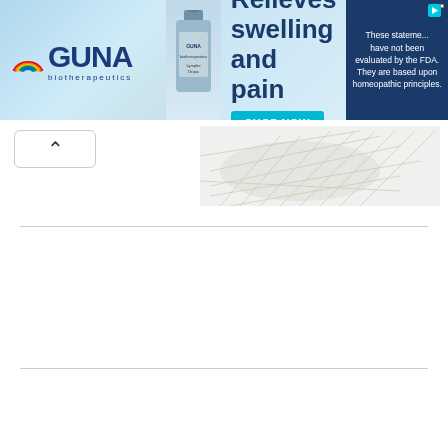[Figure (photo): GUNA biotherapeutics banner advertisement showing logo with rainbow symbol, product bottle, headline 'Relieves swelling and pain', SHOP NOW button in teal, and right panel with disclaimer text 'These statements have not been evaluated by the FDA. They are based upon homeopathic principles.' on dark blue background with close button.]
[Figure (illustration): Partial view of a hand or body part with mesh/grid pattern overlay, appearing as a background illustration beneath the navigation bar.]
^